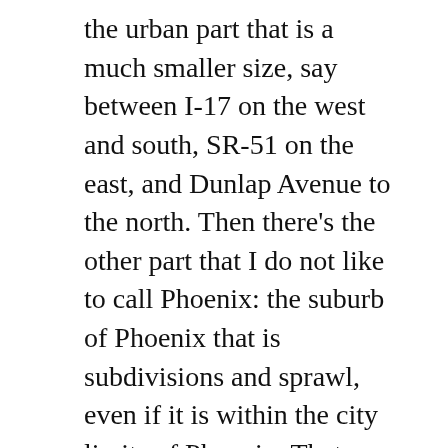the urban part that is a much smaller size, say between I-17 on the west and south, SR-51 on the east, and Dunlap Avenue to the north. Then there’s the other part that I do not like to call Phoenix: the suburb of Phoenix that is subdivisions and sprawl, even if it is within the city limits of Phoenix. That other “Phoenix” is sucking all of the life from the Phoenix I know and love. When you’re both a suburb and central city, as Phoenix and “Phoenix” are, this is what happens.
All of the research and all of the trends suggest one thing: Downtowns of core cities will carry cities and regions forward, full stop. Even worse is this idea that Phoenix will succeed if our